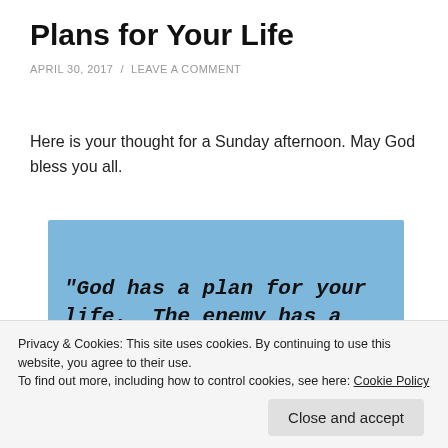Plans for Your Life
APRIL 30, 2017  /  LEAVE A COMMENT
Here is your thought for a Sunday afternoon. May God bless you all.
[Figure (photo): Blue sticky note / card with handwritten text: "God has a plan for your life. The enemy has a ... the difference."]
Privacy & Cookies: This site uses cookies. By continuing to use this website, you agree to their use.
To find out more, including how to control cookies, see here: Cookie Policy